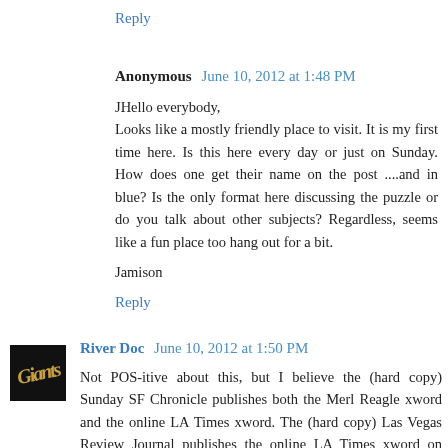Reply
Anonymous  June 10, 2012 at 1:48 PM
JHello everybody,
Looks like a mostly friendly place to visit. It is my first time here. Is this here every day or just on Sunday. How does one get their name on the post ....and in blue? Is the only format here discussing the puzzle or do you talk about other subjects? Regardless, seems like a fun place too hang out for a bit.

Jamison
Reply
River Doc  June 10, 2012 at 1:50 PM
Not POS-itive about this, but I believe the (hard copy) Sunday SF Chronicle publishes both the Merl Reagle xword and the online LA Times xword. The (hard copy) Las Vegas Review Journal publishes the online LA Times xword on Sundays. My guess is that it is simply editorial choice.